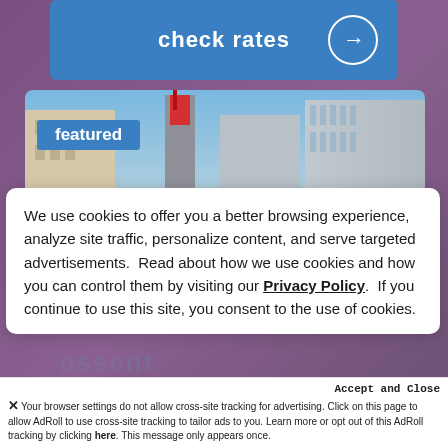check rates →
[Figure (photo): Featured hotel or building exterior photo with blue sky and city buildings, with a 'featured' label overlay]
We use cookies to offer you a better browsing experience, analyze site traffic, personalize content, and serve targeted advertisements.  Read about how we use cookies and how you can control them by visiting our Privacy Policy.  If you continue to use this site, you consent to the use of cookies.
Accept and Close
× Your browser settings do not allow cross-site tracking for advertising. Click on this page to allow AdRoll to use cross-site tracking to tailor ads to you. Learn more or opt out of this AdRoll tracking by clicking here. This message only appears once.